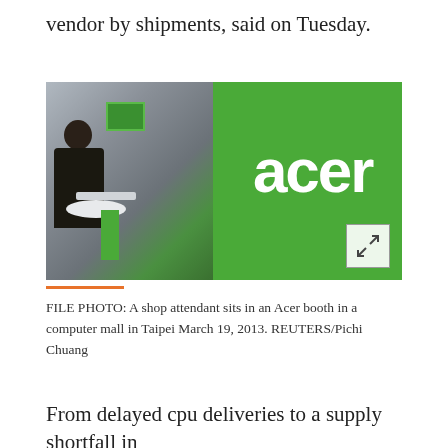vendor by shipments, said on Tuesday.
[Figure (photo): FILE PHOTO: An Acer store booth showing a person sitting at a laptop on the left side, and the large green Acer logo on the right side of the image. There is an expand/fullscreen icon in the bottom right corner.]
FILE PHOTO: A shop attendant sits in an Acer booth in a computer mall in Taipei March 19, 2013. REUTERS/Pichi Chuang
From delayed cpu deliveries to a supply shortfall in